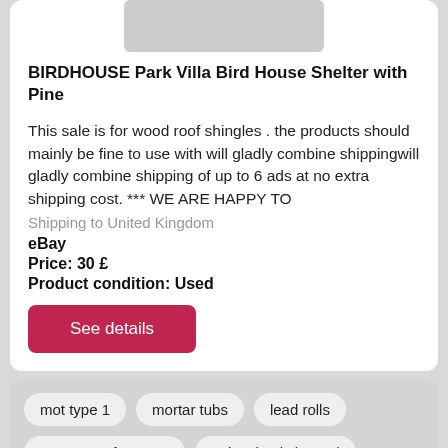[Figure (photo): Product image partially visible at top of card]
BIRDHOUSE Park Villa Bird House Shelter with Pine
This sale is for wood roof shingles . the products should mainly be fine to use with will gladly combine shippingwill gladly combine shipping of up to 6 ads at no extra shipping cost. *** WE ARE HAPPY TO
Shipping to United Kingdom
eBay
Price: 30 £
Product condition: Used
See details
mot type 1
mortar tubs
lead rolls
garage roof trusses
galvanised channel